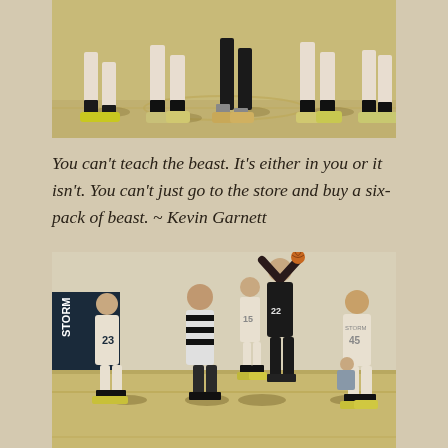[Figure (photo): Top portion of a basketball game photo showing players' legs and feet on a gymnasium hardwood court.]
You can't teach the beast. It's either in you or it isn't. You can't just go to the store and buy a six-pack of beast. ~ Kevin Garnett
[Figure (photo): Basketball game photo showing players on a gymnasium court. A player in a black uniform (number 22) is shooting with arms raised. Players in white uniforms (numbers 23, 15, 45) and a referee in black and white stripes are visible.]